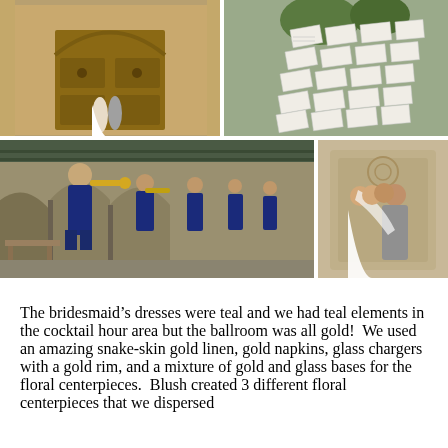[Figure (photo): Grid of four wedding photos: top-left shows bride and groom in front of large ornate wooden doors under an arch; top-right shows place cards/escort cards displayed on a wall with greenery; bottom-left (wide) shows a mariachi band in blue uniforms playing in a covered colonnade; bottom-right shows bride and groom in an intimate close moment.]
The bridesmaid's dresses were teal and we had teal elements in the cocktail hour area but the ballroom was all gold!  We used an amazing snake-skin gold linen, gold napkins, glass chargers with a gold rim, and a mixture of gold and glass bases for the floral centerpieces.  Blush created 3 different floral centerpieces that we dispersed